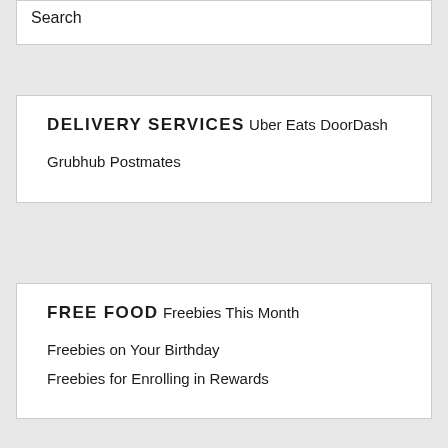Search
DELIVERY SERVICES
Uber Eats
DoorDash
Grubhub
Postmates
FREE FOOD
Freebies This Month
Freebies on Your Birthday
Freebies for Enrolling in Rewards